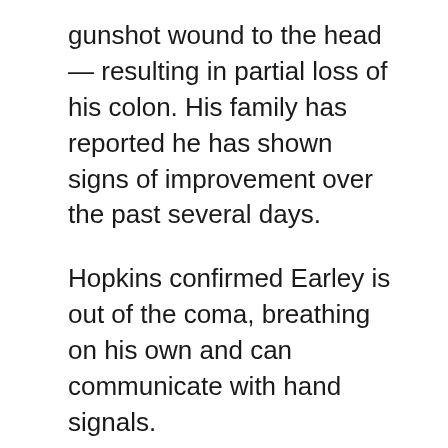gunshot wound to the head — resulting in partial loss of his colon. His family has reported he has shown signs of improvement over the past several days.
Hopkins confirmed Earley is out of the coma, breathing on his own and can communicate with hand signals.
“He continues to fight for his life at Illinois Masonic Hospital. The reason I get emotional is I talk to his mother everyday since this incident happened,” Hopkins said. “She’s quite a woman. We pray together and I tried to do the best I could to encourage her and keep her spirits up, but one thing I can’t do is explain why this happened. And I can’t tell her the shame my neighborhood feels that